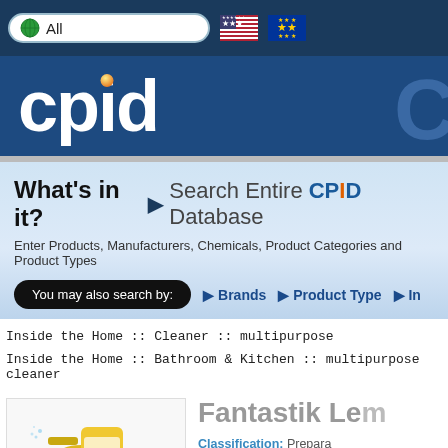[Figure (screenshot): CPID website navigation bar with globe icon, 'All' search box, US flag and EU flag]
[Figure (logo): CPID logo in white bold text on dark blue background with orange dot over 'i', partial 'C' letter on right]
What's in it? ▶ Search Entire CPID Database
Enter Products, Manufacturers, Chemicals, Product Categories and Product Types
You may also search by:   ▶ Brands   ▶ Product Type   ▶ In
Inside the Home :: Cleaner :: multipurpose
Inside the Home :: Bathroom & Kitchen :: multipurpose cleaner
Fantastik Le
Classification: Prepara
Brand Informat